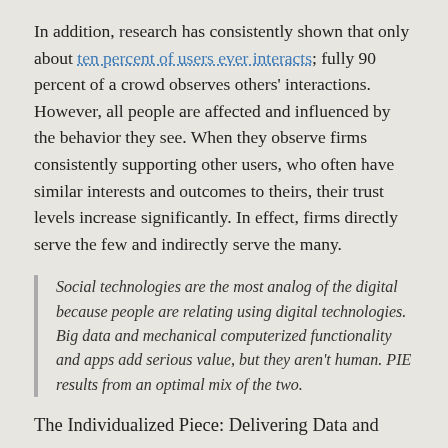In addition, research has consistently shown that only about ten percent of users ever interacts; fully 90 percent of a crowd observes others' interactions. However, all people are affected and influenced by the behavior they see. When they observe firms consistently supporting other users, who often have similar interests and outcomes to theirs, their trust levels increase significantly. In effect, firms directly serve the few and indirectly serve the many.
Social technologies are the most analog of the digital because people are relating using digital technologies. Big data and mechanical computerized functionality and apps add serious value, but they aren't human. PIE results from an optimal mix of the two.
The Individualized Piece: Delivering Data and